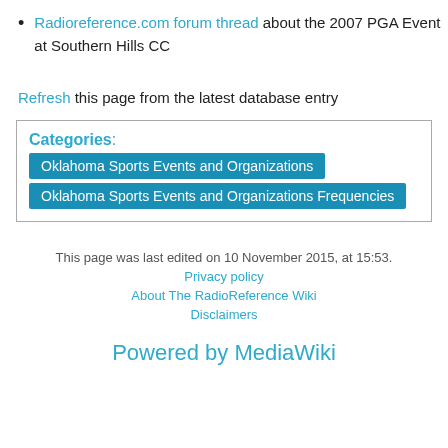Radioreference.com forum thread about the 2007 PGA Event at Southern Hills CC
Refresh this page from the latest database entry
| Categories: | Oklahoma Sports Events and Organizations | Oklahoma Sports Events and Organizations Frequencies |
This page was last edited on 10 November 2015, at 15:53.
Privacy policy
About The RadioReference Wiki
Disclaimers
Powered by MediaWiki